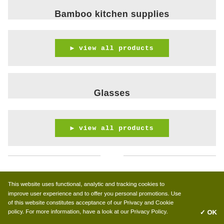Bamboo kitchen supplies
▶ view all products
Glasses
▶ view all products
This website uses functional, analytic and tracking cookies to improve user experience and to offer you personal promotions. Use of this website constitutes acceptance of our Privacy and Cookie policy. For more information, have a look at our Privacy Policy. ✔ OK